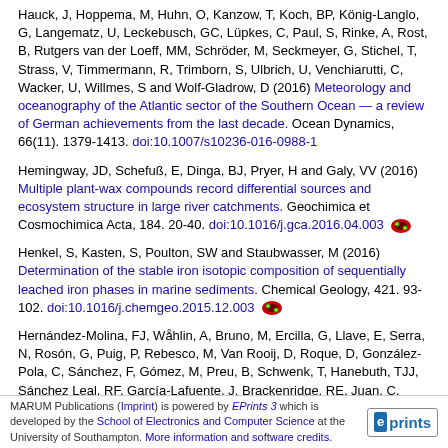Hauck, J, Hoppema, M, Huhn, O, Kanzow, T, Koch, BP, König-Langlo, G, Langematz, U, Leckebusch, GC, Lüpkes, C, Paul, S, Rinke, A, Rost, B, Rutgers van der Loeff, MM, Schröder, M, Seckmeyer, G, Stichel, T, Strass, V, Timmermann, R, Trimborn, S, Ulbrich, U, Venchiarutti, C, Wacker, U, Willmes, S and Wolf-Gladrow, D (2016) Meteorology and oceanography of the Atlantic sector of the Southern Ocean — a review of German achievements from the last decade. Ocean Dynamics, 66(11). 1379-1413. doi:10.1007/s10236-016-0988-1
Hemingway, JD, Schefuß, E, Dinga, BJ, Pryer, H and Galy, VV (2016) Multiple plant-wax compounds record differential sources and ecosystem structure in large river catchments. Geochimica et Cosmochimica Acta, 184. 20-40. doi:10.1016/j.gca.2016.04.003
Henkel, S, Kasten, S, Poulton, SW and Staubwasser, M (2016) Determination of the stable iron isotopic composition of sequentially leached iron phases in marine sediments. Chemical Geology, 421. 93-102. doi:10.1016/j.chemgeo.2015.12.003
Hernández-Molina, FJ, Wåhlin, A, Bruno, M, Ercilla, G, Llave, E, Serra, N, Rosón, G, Puig, P, Rebesco, M, Van Rooij, D, Roque, D, González-Pola, C, Sánchez, F, Gómez, M, Preu, B, Schwenk, T, Hanebuth, TJJ, Sánchez Leal, RF, García-Lafuente, J, Brackenridge, RE, Juan, C, Stow, DAV and Sánchez-González, JM (2016) Oceanographic processes and morphosedimentary products along the Iberian margins: A new multidisciplinary approach. Marine
MARUM Publications (Imprint) is powered by EPrints 3 which is developed by the School of Electronics and Computer Science at the University of Southampton. More information and software credits.